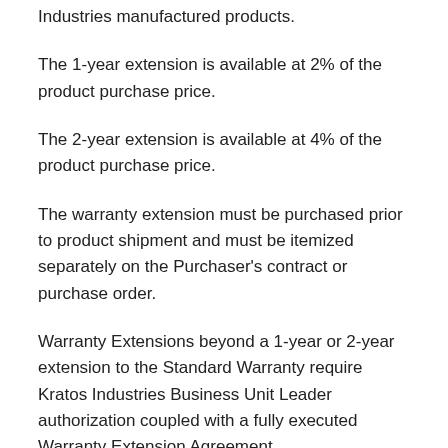Industries manufactured products.
The 1-year extension is available at 2% of the product purchase price.
The 2-year extension is available at 4% of the product purchase price.
The warranty extension must be purchased prior to product shipment and must be itemized separately on the Purchaser's contract or purchase order.
Warranty Extensions beyond a 1-year or 2-year extension to the Standard Warranty require Kratos Industries Business Unit Leader authorization coupled with a fully executed Warranty Extension Agreement.